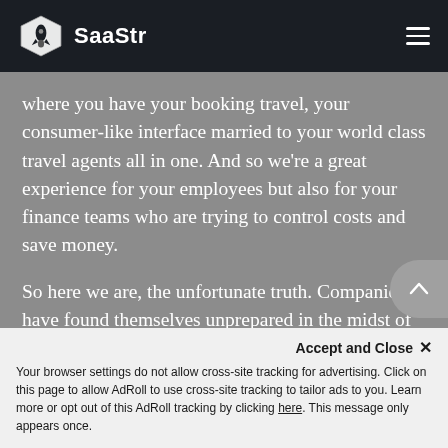SaaStr
where you have your booking travel, your consumer-like interface married to your world class travel agents all in one. And so we're a great experience for your employees but also for your finance teams who are trying to control costs and save money.
So here we are, the unfortunate truth. Companies have found themselves unprepared in the midst of COVID-19 crisis. It's unlike anything many of us have faced. And with that, we've got a complexity
Accept and Close ✕
Your browser settings do not allow cross-site tracking for advertising. Click on this page to allow AdRoll to use cross-site tracking to tailor ads to you. Learn more or opt out of this AdRoll tracking by clicking here. This message only appears once.